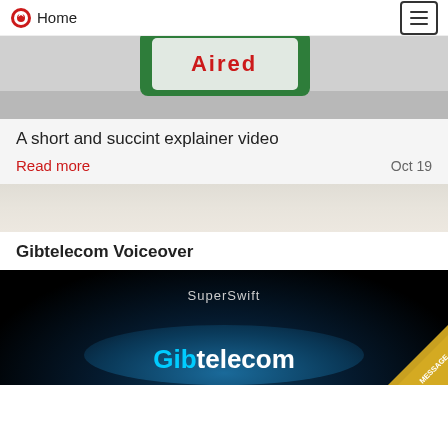Home
[Figure (photo): Partial product image with green packaging and red logo, shown at top of page]
A short and succint explainer video
Read more
Oct 19
Gibtelecom Voiceover
[Figure (screenshot): Gibtelecom promotional image with 'SuperSwift' text and 'Gibtelecom' branding in cyan and white on dark blue/black space background with globe, and a MESSAGE badge in the corner]